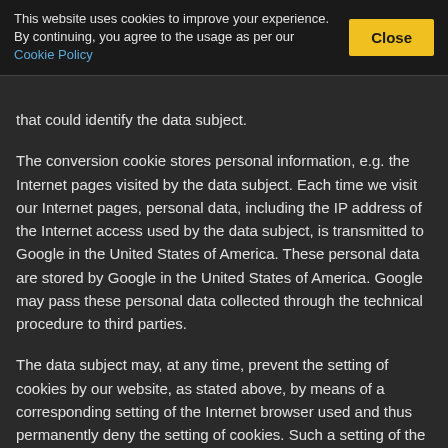This website uses cookies to improve your experience. By continuing, you agree to the usage as per our Cookie Policy
that could identify the data subject.
The conversion cookie stores personal information, e.g. the Internet pages visited by the data subject. Each time we visit our Internet pages, personal data, including the IP address of the Internet access used by the data subject, is transmitted to Google in the United States of America. These personal data are stored by Google in the United States of America. Google may pass these personal data collected through the technical procedure to third parties.
The data subject may, at any time, prevent the setting of cookies by our website, as stated above, by means of a corresponding setting of the Internet browser used and thus permanently deny the setting of cookies. Such a setting of the Internet browser used would also prevent Google from placing a conversion cookie on the information technology system of the data subject. In addition, a cookie set by Google AdWords may be deleted at any time via the Internet browser or other software programs.
The data subject has a possibility of objecting to the interest based